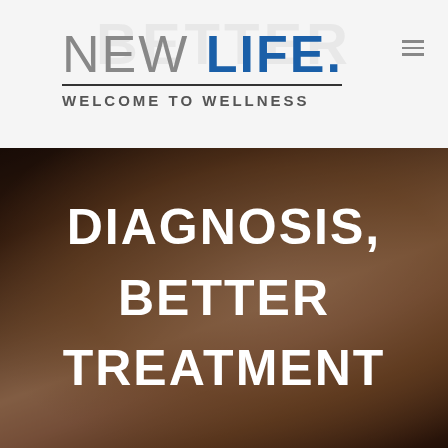NEW LIFE. WELCOME TO WELLNESS
[Figure (photo): Close-up of two hands held together against a dark background, overlaid with large white text reading DIAGNOSIS, BETTER TREATMENT]
DIAGNOSIS, BETTER TREATMENT